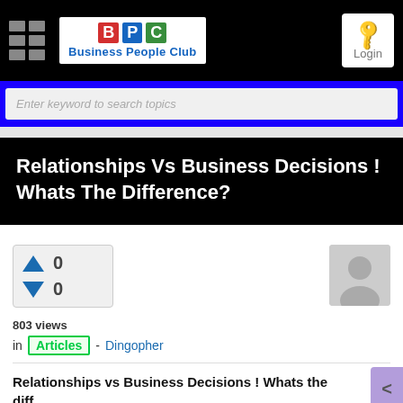[Figure (screenshot): Business People Club website navigation bar with logo (BPC in colored squares), hamburger menu, and Login button on black background]
Enter keyword to search topics
Relationships Vs Business Decisions ! Whats The Difference?
0 (upvote) 0 (downvote)
803 views
in Articles - Dingopher
Relationships vs Business Decisions ! Whats the diff...